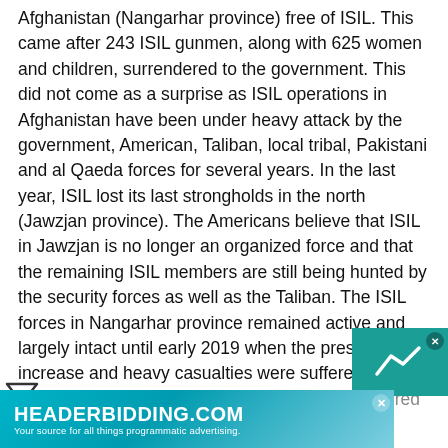Afghanistan (Nangarhar province) free of ISIL. This came after 243 ISIL gunmen, along with 625 women and children, surrendered to the government. This did not come as a surprise as ISIL operations in Afghanistan have been under heavy attack by the government, American, Taliban, local tribal, Pakistani and al Qaeda forces for several years. In the last year, ISIL lost its last strongholds in the north (Jawzjan province). The Americans believe that ISIL in Jawzjan is no longer an organized force and that the remaining ISIL members are still being hunted by the security forces as well as the Taliban. The ISIL forces in Nangarhar province remained active and largely intact until early 2019 when the pressure increase and heavy casualties were suffered. In addition, more and more ISIL members surrendered and that led to... the...
[Figure (other): HEADERBIDDING.COM advertisement banner with teal gradient background. Text reads 'HEADERBIDDING.COM - Your source for all things programmatic advertising.' with a close button.]